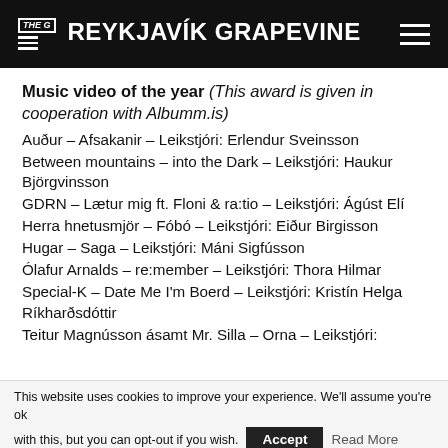The G Reykjavík Grapevine
Music video of the year (This award is given in cooperation with Albumm.is)
Auður – Afsakanir – Leikstjóri: Erlendur Sveinsson
Between mountains – into the Dark – Leikstjóri: Haukur Björgvinsson
GDRN – Lætur mig ft. Floni & ra:tio – Leikstjóri: Ágúst Elí
Herra hnetusmjör – Fóbó – Leikstjóri: Eiður Birgisson
Hugar – Saga – Leikstjóri: Máni Sigfússon
Ólafur Arnalds – re:member – Leikstjóri: Thora Hilmar
Special-K – Date Me I'm Boerd – Leikstjóri: Kristín Helga Ríkharðsdóttir
Teitur Magnússon ásamt Mr. Silla – Orna – Leikstjóri:
This website uses cookies to improve your experience. We'll assume you're ok with this, but you can opt-out if you wish. Accept Read More